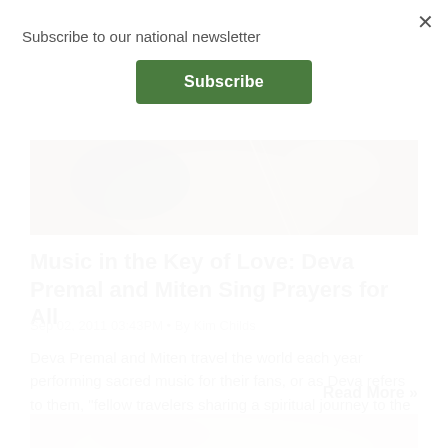Subscribe to our national newsletter
Subscribe
[Figure (photo): Partial view of a person's face and hair with warm sepia tones]
Music in the Key of Love: Deva Premal and Miten Sing Prayers for All
Sep 02, 2011 03:43PM • By Kim Childs
Deva Premal and Miten travel the world each year performing sacred music for their fans, or as Deva refers to them, "fellow travelers sharing a spiritual journey to the same direction."
Read More »
[Figure (photo): Partial view of a person with light hair, cropped at bottom of page]